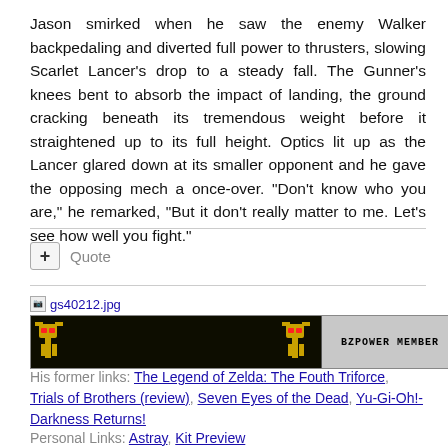Jason smirked when he saw the enemy Walker backpedaling and diverted full power to thrusters, slowing Scarlet Lancer's drop to a steady fall. The Gunner's knees bent to absorb the impact of landing, the ground cracking beneath its tremendous weight before it straightened up to its full height. Optics lit up as the Lancer glared down at its smaller opponent and he gave the opposing mech a once-over. "Don't know who you are," he remarked, "But it don't really matter to me. Let's see how well you fight."
Quote
[Figure (photo): Banner image showing a dark mech/robot figure on the left side with glowing red eyes, and a grey section on the right with text 'BZPOWER MEMBER'. Filename shown above: gs40212.jpg]
His former links: The Legend of Zelda: The Fouth Triforce, Trials of Brothers (review), Seven Eyes of the Dead, Yu-Gi-Oh!- Darkness Returns!
Personal Links: Astray, Kit Preview